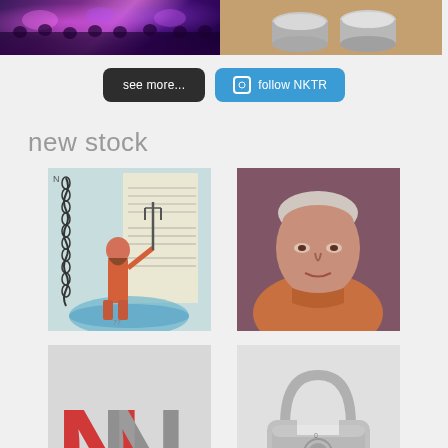[Figure (photo): Concert venue with purple stage lighting and crowd on left; metal tins/cans on wooden surface on right]
[Figure (other): Two buttons: dark 'see more...' button and blue 'follow NKTR' button with Instagram icon]
new stock
[Figure (illustration): Illustration of Neptune/devil figure holding trident, standing in water, on background of old document page with decorative chain border]
[Figure (photo): Portrait painting of an elderly man in orange/red jacket against brown/purple background]
[Figure (photo): 3D red and gray letter N signage]
[Figure (photo): Silver/chrome combination padlock with heart-shaped shackle]